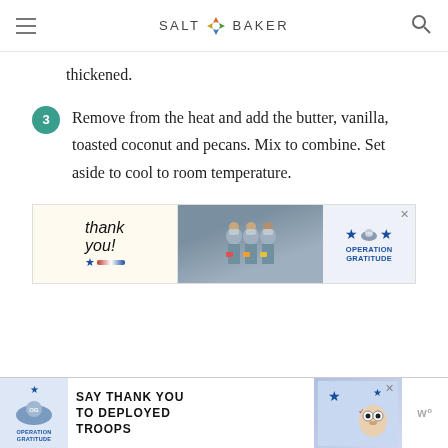SALT & BAKER
thickened.
3. Remove from the heat and add the butter, vanilla, toasted coconut and pecans. Mix to combine. Set aside to cool to room temperature.
[Figure (photo): Advertisement banner showing Operation Gratitude thank you campaign with healthcare workers in masks holding cards]
[Figure (photo): Bottom advertisement banner: Operation Gratitude - Say Thank You to Deployed Troops]